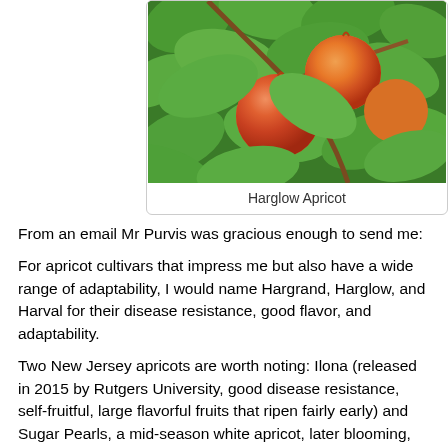[Figure (photo): Photo of apricots hanging on a tree with green leaves, showing orange-red ripe fruits]
Harglow Apricot
From an email Mr Purvis was gracious enough to send me:
For apricot cultivars that impress me but also have a wide range of adaptability, I would name Hargrand, Harglow, and Harval for their disease resistance, good flavor, and adaptability.
Two New Jersey apricots are worth noting: Ilona (released in 2015 by Rutgers University, good disease resistance, self-fruitful, large flavorful fruits that ripen fairly early) and Sugar Pearls, a mid-season white apricot, later blooming, fully hardy at -20F and possibly even to -35F in Wisconsin, very sweet, dries well, but requires cross pollination with another